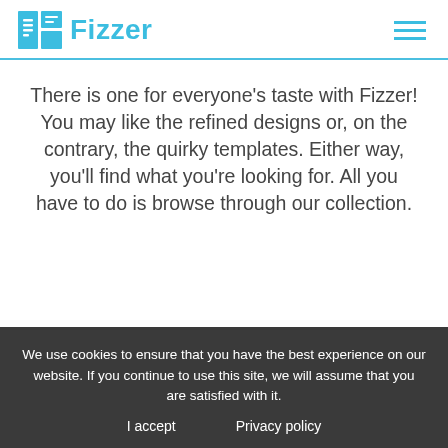Fizzer
There is one for everyone's taste with Fizzer! You may like the refined designs or, on the contrary, the quirky templates. Either way, you'll find what you're looking for. All you have to do is browse through our collection.
[Figure (illustration): Illustration showing postcard/greeting card templates with a green arch shape and card mockups on a light blue background]
We use cookies to ensure that you have the best experience on our website. If you continue to use this site, we will assume that you are satisfied with it.
I accept    Privacy policy